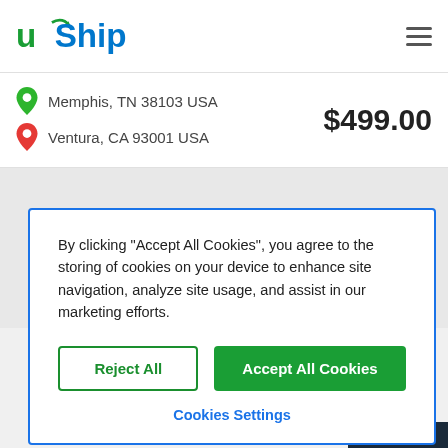[Figure (logo): uShip logo with blue arrow and text]
Memphis, TN 38103 USA
Ventura, CA 93001 USA
$499.00
By clicking “Accept All Cookies”, you agree to the storing of cookies on your device to enhance site navigation, analyze site usage, and assist in our marketing efforts.
Reject All
Accept All Cookies
Cookies Settings